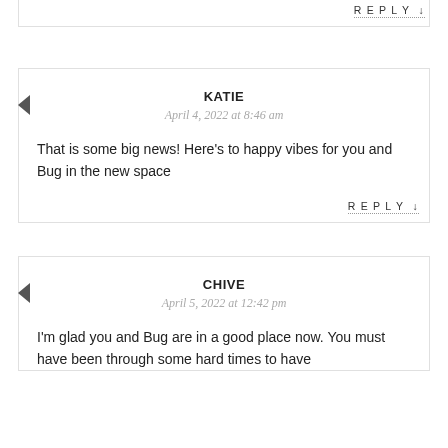REPLY ↓
KATIE
April 4, 2022 at 8:46 am
That is some big news! Here's to happy vibes for you and Bug in the new space
REPLY ↓
CHIVE
April 5, 2022 at 12:42 pm
I'm glad you and Bug are in a good place now. You must have been through some hard times to have